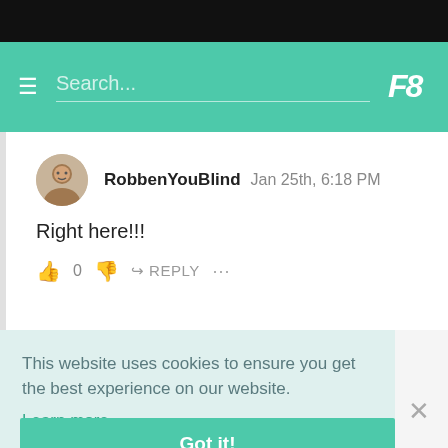Search...
RobbenYouBlind  Jan 25th, 6:18 PM
Right here!!!
👍 0 👎 ↵ REPLY ...
This website uses cookies to ensure you get the best experience on our website. Learn more
Got it!